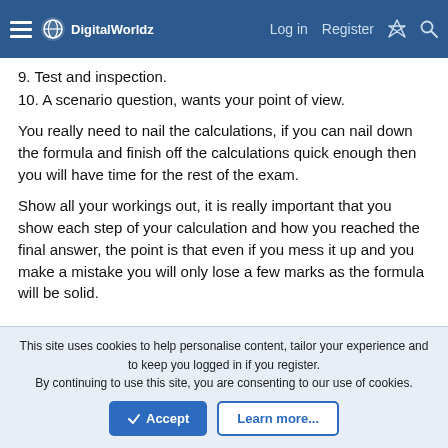DigitalWorldz — Log in  Register
9. Test and inspection.
10. A scenario question, wants your point of view.
You really need to nail the calculations, if you can nail down the formula and finish off the calculations quick enough then you will have time for the rest of the exam.
Show all your workings out, it is really important that you show each step of your calculation and how you reached the final answer, the point is that even if you mess it up and you make a mistake you will only lose a few marks as the formula will be solid.
This site uses cookies to help personalise content, tailor your experience and to keep you logged in if you register.
By continuing to use this site, you are consenting to our use of cookies.